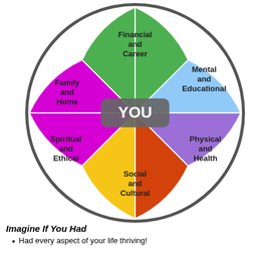[Figure (pie-chart): Life Wheel]
Imagine If You Had
Had every aspect of your life thriving!